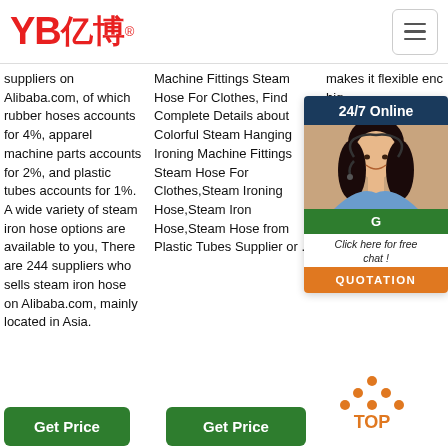YB亿博 logo with navigation menu
suppliers on Alibaba.com, of which rubber hoses accounts for 4%, apparel machine parts accounts for 2%, and plastic tubes accounts for 1%. A wide variety of steam iron hose options are available to you, There are 244 suppliers who sells steam iron hose on Alibaba.com, mainly located in Asia.
Machine Fittings Steam Hose For Clothes, Find Complete Details about Colorful Steam Hanging Ironing Machine Fittings Steam Hose For Clothes,Steam Ironing Hose,Steam Iron Hose,Steam Hose from Plastic Tubes Supplier or ...
makes it flexible enough for high complexity configurations, are aligned
[Figure (photo): Customer support representative woman with headset, 24/7 Online chat widget with Get Price and QUOTATION buttons]
Get Price
Get Price
[Figure (other): TOP navigation icon with orange dots arranged in triangle and orange TOP text]